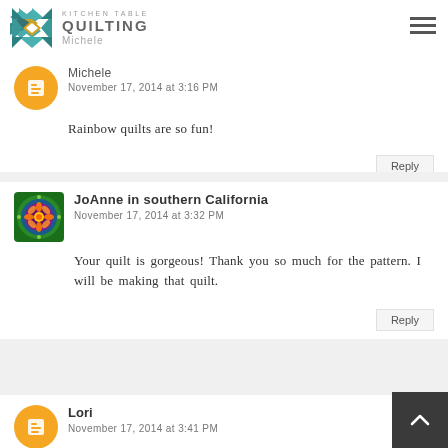Kitchen Table Quilting
Reply
Michele
November 17, 2014 at 3:16 PM
Rainbow quilts are so fun!
Reply
JoAnne in southern California
November 17, 2014 at 3:32 PM
Your quilt is gorgeous! Thank you so much for the pattern. I will be making that quilt.
Reply
Lori
November 17, 2014 at 3:41 PM